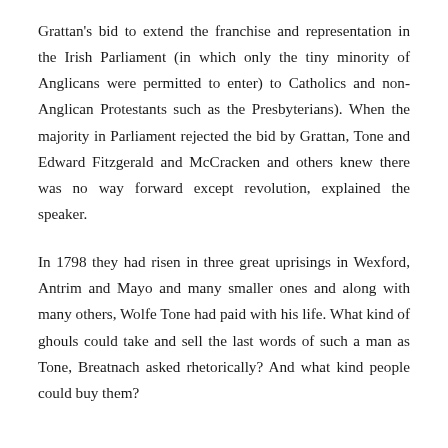Grattan's bid to extend the franchise and representation in the Irish Parliament (in which only the tiny minority of Anglicans were permitted to enter) to Catholics and non-Anglican Protestants such as the Presbyterians). When the majority in Parliament rejected the bid by Grattan, Tone and Edward Fitzgerald and McCracken and others knew there was no way forward except revolution, explained the speaker.
In 1798 they had risen in three great uprisings in Wexford, Antrim and Mayo and many smaller ones and along with many others, Wolfe Tone had paid with his life. What kind of ghouls could take and sell the last words of such a man as Tone, Breatnach asked rhetorically? And what kind people could buy them?